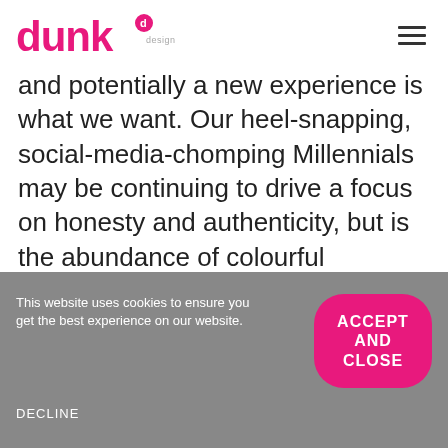[Figure (logo): Dunk Design logo with pink text and circular 'd' superscript, followed by 'design' in small grey text]
and potentially a new experience is what we want. Our heel-snapping, social-media-chomping Millennials may be continuing to drive a focus on honesty and authenticity, but is the abundance of colourful messages in the casual dining sector turning into white noise?
This website uses cookies to ensure you get the best experience on our website.
ACCEPT AND CLOSE
DECLINE